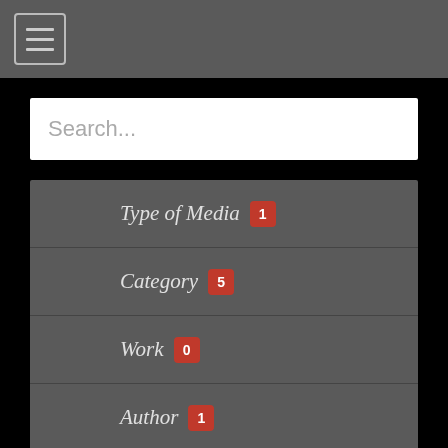[Figure (screenshot): Navigation hamburger menu icon in top left corner of dark grey header bar]
Search...
Type of Media 1
Category 5
Work 0
Author 1
Date 7
[Figure (logo): DARE logo with stylized Hebrew or Arabic letters in red and grey]